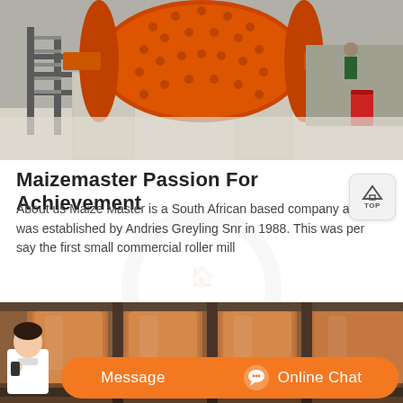[Figure (photo): Industrial ball mill machine in a factory setting, large orange rotating drum on concrete supports, workers and equipment visible in background]
Maizemaster Passion For Achievement
About us Maize Master is a South African based company and was established by Andries Greyling Snr in 1988. This was per say the first small commercial roller mill
[Figure (photo): Close-up of industrial roller mill machinery showing copper/brown colored cylindrical rollers with metallic frames]
Message
Online Chat